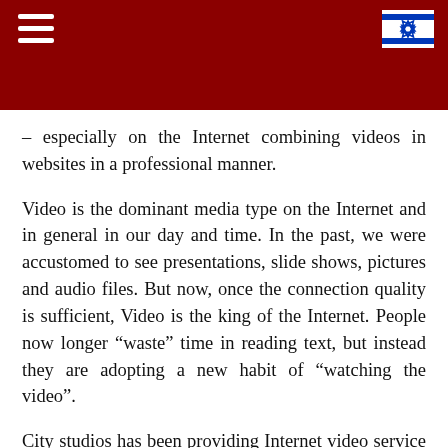– especially on the Internet combining videos in websites in a professional manner.
Video is the dominant media type on the Internet and in general in our day and time. In the past, we were accustomed to see presentations, slide shows, pictures and audio files. But now, once the connection quality is sufficient, Video is the king of the Internet. People now longer “waste” time in reading text, but instead they are adopting a new habit of “watching the video”.
City studios has been providing Internet video service for quite a long time and is now one of the most experienced, and expert companies in the area